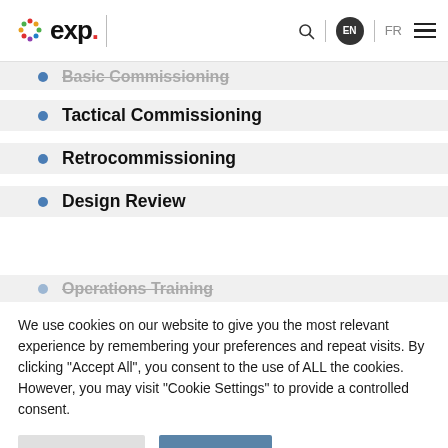[Figure (logo): exp. company logo with colorful dots]
Tactical Commissioning
Retrocommissioning
Design Review
We use cookies on our website to give you the most relevant experience by remembering your preferences and repeat visits. By clicking "Accept All", you consent to the use of ALL the cookies. However, you may visit "Cookie Settings" to provide a controlled consent.